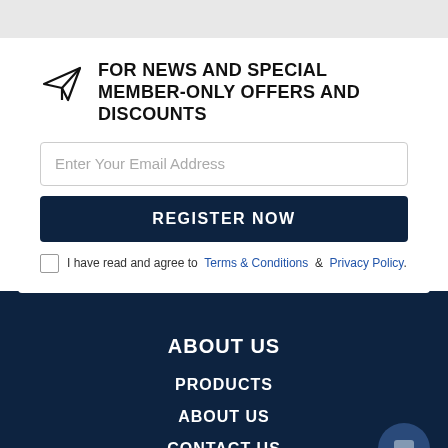FOR NEWS AND SPECIAL MEMBER-ONLY OFFERS AND DISCOUNTS
Enter Your Email Address
REGISTER NOW
I have read and agree to  Terms & Conditions  &  Privacy Policy.
ABOUT US
PRODUCTS
ABOUT US
CONTACT US